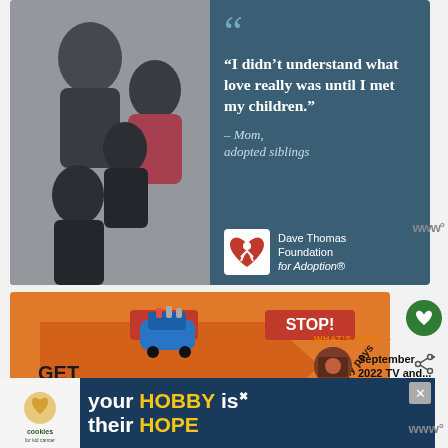[Figure (photo): Family photo: a smiling Black family of four (man, woman, two children) posed together]
“I didn’t understand what love really was until I met my children.” – Mom, adopted siblings
[Figure (logo): Dave Thomas Foundation for Adoption logo: red heart with child figure silhouette inside]
Dave Thomas Foundation for Adoption
[Figure (photo): Close-up of a Game of Life board game showing spaces: GET MARRIED SPIN!, STOP!, Black: Family pays]
WHAT’S NEXT → September 2022 TV and...
[Figure (photo): Thumbnail image for What's Next section]
[Figure (infographic): Advertisement banner: cookies for kid cancer logo, text 'your HOBBY is their HOPE']